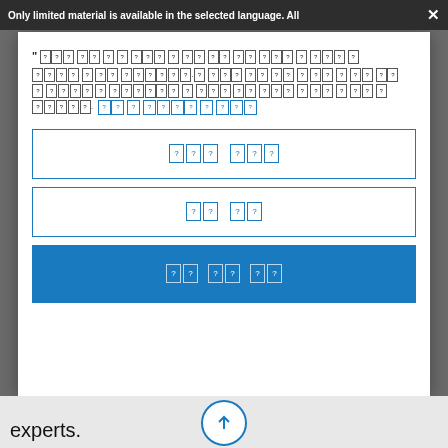Only limited material is available in the selected language. All
[Figure (screenshot): A modal dialog with garbled/encoded text (characters shown as question marks in boxes), two blue-bordered input fields with encoded text, and a blue action button with encoded text. The text encoding is unreadable, likely a non-Latin script rendered as placeholder question mark boxes.]
experts.